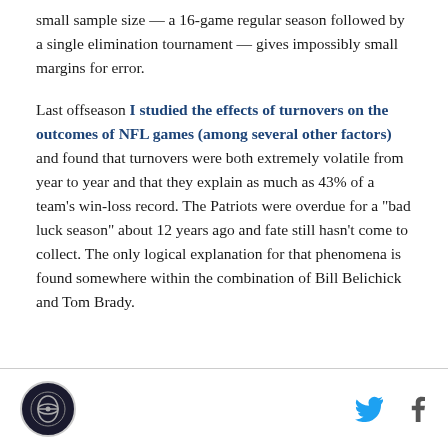small sample size — a 16-game regular season followed by a single elimination tournament — gives impossibly small margins for error.
Last offseason I studied the effects of turnovers on the outcomes of NFL games (among several other factors) and found that turnovers were both extremely volatile from year to year and that they explain as much as 43% of a team's win-loss record. The Patriots were overdue for a "bad luck season" about 12 years ago and fate still hasn't come to collect. The only logical explanation for that phenomena is found somewhere within the combination of Bill Belichick and Tom Brady.
[logo] [twitter] [facebook]